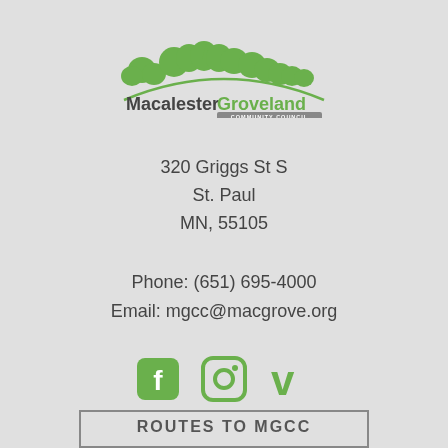[Figure (logo): Macalester Groveland Community Council logo with green tree silhouette and arc, text 'MacalesterGroveland' and 'COMMUNITY COUNCIL']
320 Griggs St S
St. Paul
MN, 55105
Phone: (651) 695-4000
Email: mgcc@macgrove.org
[Figure (illustration): Green social media icons: Facebook, Instagram, Vimeo]
ROUTES TO MGCC